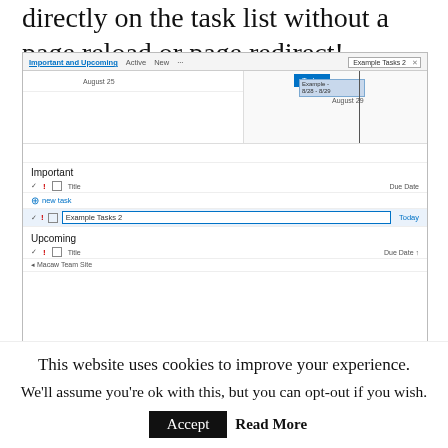directly on the task list without a page reload or page redirect!
[Figure (screenshot): SharePoint task list screenshot showing Important and Upcoming sections with a Gantt chart view. Tabs: Important and Upcoming, Active, New. A search box shows 'Example Tasks 2'. The Gantt shows a Today button, dates August 25 and August 29, and a bar labeled 'Example - 8/28 - 8/29'. The Important section has a new task row and an 'Example Tasks 2' task with due date Today. The Upcoming section shows Title column and Due Date with a Macaw Team Site entry.]
This website uses cookies to improve your experience. We'll assume you're ok with this, but you can opt-out if you wish. Accept Read More